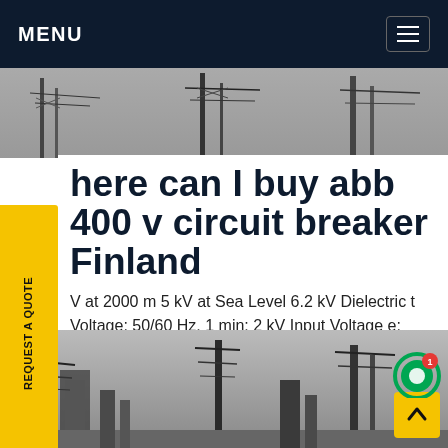MENU
[Figure (photo): Black and white photo of electrical transmission tower structures and power lines infrastructure from below]
here can I buy abb 400 v circuit breaker Finland
V at 2000 m 5 kV at Sea Level 6.2 kV Dielectric t Voltage: 50/60 Hz, 1 min: 2 kV Input Voltage e: AC/DC Rated Current (I n): 6 A Rated Short- ircuit Capacity (I cn): (230 V AC) 10 kA (400 V AC) A Rated Ultimate Short-Circuit Breaking Capacity et price
[Figure (photo): Black and white photo of electrical power substation structures and transmission towers]